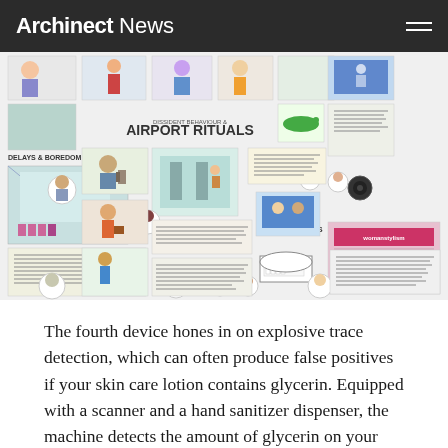Archinect News
[Figure (infographic): Illustrated infographic titled 'Dissident Behaviour & Airport Rituals' showing various comic-style scenes of people in airports including sections labeled 'Delays & Boredom', 'Sales', and various illustrated vignettes of airport behaviors and characters.]
The fourth device hones in on explosive trace detection, which can often produce false positives if your skin care lotion contains glycerin. Equipped with a scanner and a hand sanitizer dispenser, the machine detects the amount of glycerin on your hand and uses the data to control an embedded screen, which displays anecdotes of real-life false positives and their ramifications. Finally, the fifth device